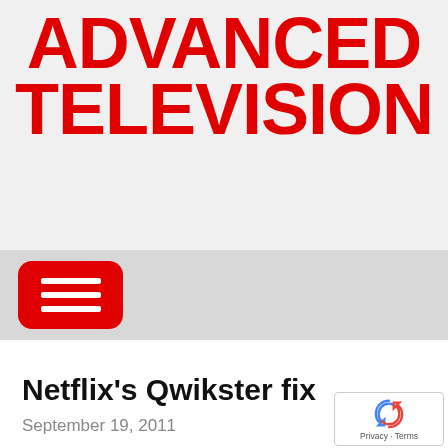ADVANCED TELEVISION
[Figure (other): Red hamburger menu button icon on grey navigation band]
Netflix's Qwikster fix
September 19, 2011
[Figure (other): Google reCAPTCHA badge with circular arrow logo and Privacy - Terms text]